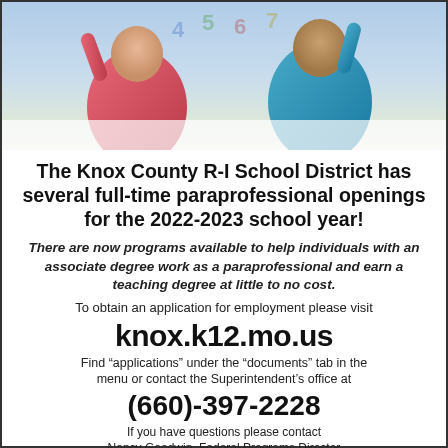[Figure (photo): Photo of two young children with arms raised, in a classroom setting with colorful number decorations in the background. One child wears a red/pink top, the other wears a teal/blue top.]
The Knox County R-I School District has several full-time paraprofessional openings for the 2022-2023 school year!
There are now programs available to help individuals with an associate degree work as a paraprofessional and earn a teaching degree at little to no cost.
To obtain an application for employment please visit
knox.k12.mo.us
Find “applications” under the “documents” tab in the menu or contact the Superintendent’s office at
(660)-397-2228
If you have questions please contact
Nancy Goodwin, Federal Programs Director